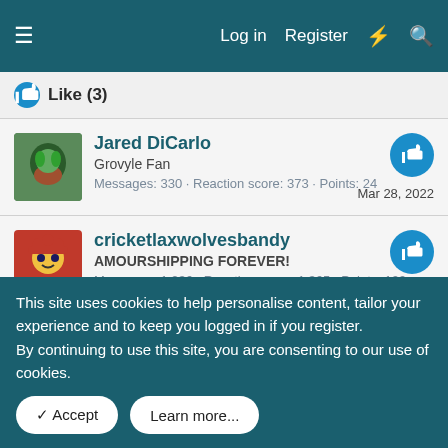≡   Log in  Register  ⚡  🔍
👍 Like (3)
Jared DiCarlo
Grovyle Fan
Messages: 330 · Reaction score: 373 · Points: 24
Mar 28, 2022
cricketlaxwolvesbandy
AMOURSHIPPING FOREVER!
Messages: 1,236 · Reaction score: 1,365 · Points: 109
Dec 3, 2021
Orchid
remarkably unremarkable · 19
Messages: 1,488 · Reaction score: 3,469 · Points: 533
Dec 3, 2021
What are your favorite episodes of the Pokémon anime?
This site uses cookies to help personalise content, tailor your experience and to keep you logged in if you register.
By continuing to use this site, you are consenting to our use of cookies.
✓ Accept   Learn more...